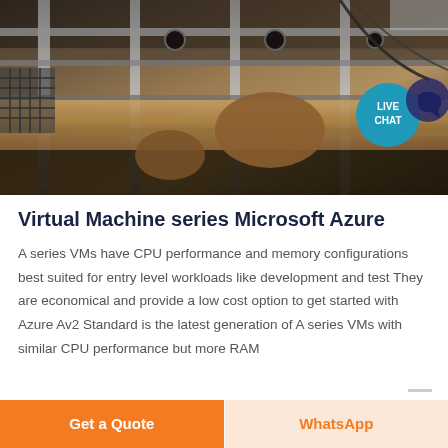[Figure (photo): Industrial machinery photo showing metal shelving/conveyor system in a warehouse or factory, with brown/tan materials on belt. A 'LIVE CHAT' speech bubble icon appears in the upper right of the image.]
Virtual Machine series Microsoft Azure
A series VMs have CPU performance and memory configurations best suited for entry level workloads like development and test They are economical and provide a low cost option to get started with Azure Av2 Standard is the latest generation of A series VMs with similar CPU performance but more RAM
Get a Quote
WhatsApp